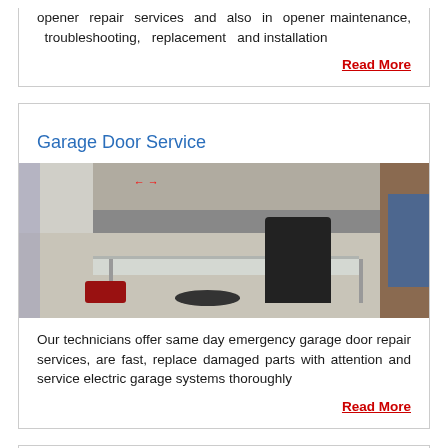opener repair services and also in opener maintenance, troubleshooting, replacement and installation
Read More
Garage Door Service
[Figure (photo): A technician working inside a garage, crouching over equipment with tables and tools visible on the garage floor. A red bag, coiled cable, and blue tarp are visible.]
Our technicians offer same day emergency garage door repair services, are fast, replace damaged parts with attention and service electric garage systems thoroughly
Read More
Garage Door Springs